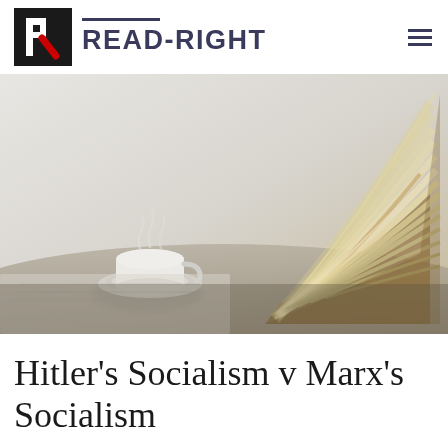READ-RIGHT
[Figure (photo): Open book with fanned pages on a table next to a steaming cup of tea/coffee on a saucer, soft focus, warm tones on the book, cool grey tones on the left.]
Hitler's Socialism v Marx's Socialism